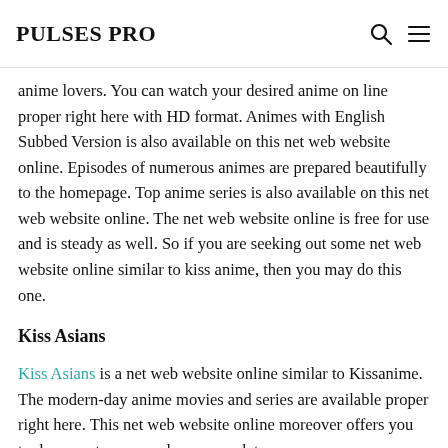PULSES PRO
anime lovers. You can watch your desired anime on line proper right here with HD format. Animes with English Subbed Version is also available on this net web website online. Episodes of numerous animes are prepared beautifully to the homepage. Top anime series is also available on this net web website online. The net web website online is free for use and is steady as well. So if you are seeking out some net web website online similar to kiss anime, then you may do this one.
Kiss Asians
Kiss Asians is a net web website online similar to Kissanime. The modern-day anime movies and series are available proper right here. This net web website online moreover offers you to document errors and moreover lets